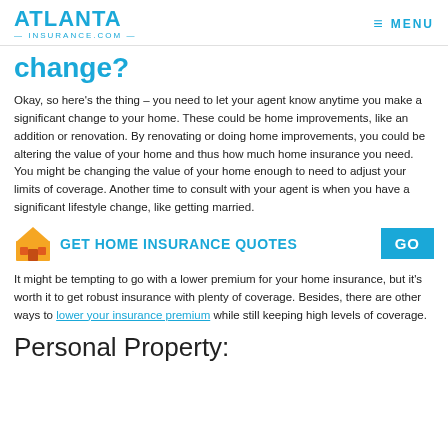ATLANTA INSURANCE.COM — MENU
change?
Okay, so here's the thing – you need to let your agent know anytime you make a significant change to your home. These could be home improvements, like an addition or renovation. By renovating or doing home improvements, you could be altering the value of your home and thus how much home insurance you need. You might be changing the value of your home enough to need to adjust your limits of coverage. Another time to consult with your agent is when you have a significant lifestyle change, like getting married.
[Figure (infographic): Call-to-action banner with house icon, text 'GET HOME INSURANCE QUOTES' and blue GO button]
It might be tempting to go with a lower premium for your home insurance, but it's worth it to get robust insurance with plenty of coverage. Besides, there are other ways to lower your insurance premium while still keeping high levels of coverage.
Personal Property: